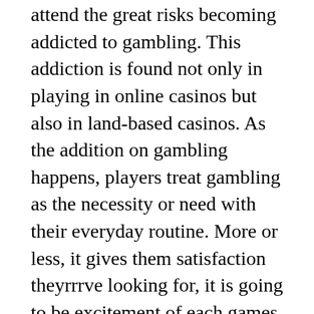attend the great risks becoming addicted to gambling. This addiction is found not only in playing in online casinos but also in land-based casinos. As the addition on gambling happens, players treat gambling as the necessity or need with their everyday routine. More or less, it gives them satisfaction theyrrrve looking for, it is going to be excitement of each games as well as idea of winning the pot monetary gain. Also, there are players gamble to relieve the stress they now have.
Am Daftar Judi Online for gambling in the Texas Sweepstakes? Maybe so, or merely I